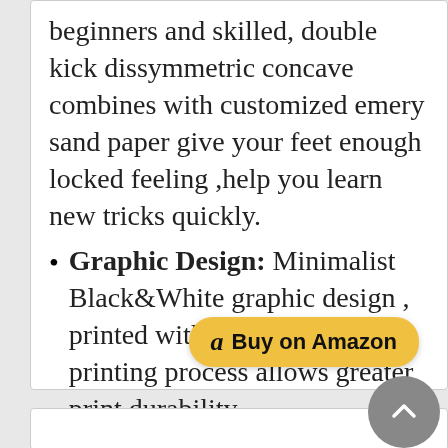beginners and skilled, double kick dissymmetric concave combines with customized emery sand paper give your feet enough locked feeling ,help you learn new tricks quickly.
Graphic Design: Minimalist Black&White graphic design , printed with thermal transfer printing process allows greater print durability.
No Assembly Required: Come with completed 31.